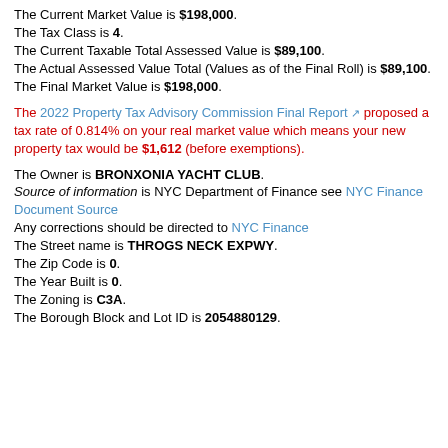The Current Market Value is $198,000. The Tax Class is 4. The Current Taxable Total Assessed Value is $89,100. The Actual Assessed Value Total (Values as of the Final Roll) is $89,100. The Final Market Value is $198,000.
The 2022 Property Tax Advisory Commission Final Report [link] proposed a tax rate of 0.814% on your real market value which means your new property tax would be $1,612 (before exemptions).
The Owner is BRONXONIA YACHT CLUB. Source of information is NYC Department of Finance see NYC Finance Document Source Any corrections should be directed to NYC Finance The Street name is THROGS NECK EXPWY. The Zip Code is 0. The Year Built is 0. The Zoning is C3A. The Borough Block and Lot ID is 2054880129.